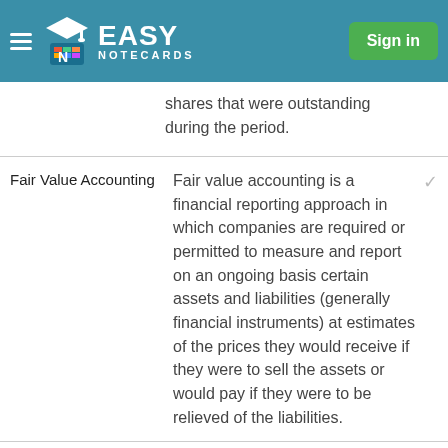Easy Notecards — Sign in
shares that were outstanding during the period.
Fair Value Accounting — Fair value accounting is a financial reporting approach in which companies are required or permitted to measure and report on an ongoing basis certain assets and liabilities (generally financial instruments) at estimates of the prices they would receive if they were to sell the assets or would pay if they were to be relieved of the liabilities.
Fair Value Option — 1. The estimated value of all assets and liabilities of...